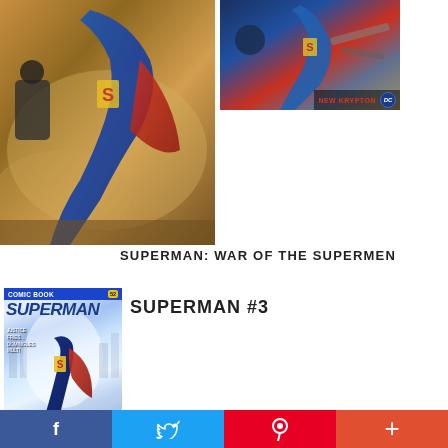[Figure (photo): Two Superman: New Krypton Collection comic book covers side by side. Large cover on left showing Superman in blue and red suit flying/falling, with red 'NEW KRYPTON' banner and DC logo at bottom. Smaller cover on top right showing similar scene with 'NEW KRYPTON' text and DC logo.]
SUPERMAN: WAR OF THE SUPERMEN
[Figure (photo): Superman #3 comic book cover showing Superman flying upward with red cape against a bright white/blue background. Header reads 'COMIC BOOK' with issue badge showing '52'. Credits text visible on left side.]
SUPERMAN #3
f  [Twitter bird icon]  P  +